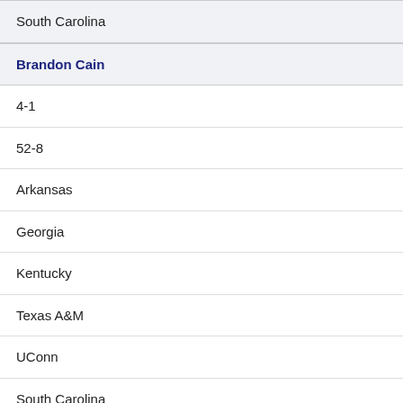South Carolina
Brandon Cain
4-1
52-8
Arkansas
Georgia
Kentucky
Texas A&M
UConn
South Carolina
Robert O'Neill
4-1